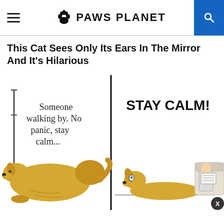PAWS PLANET
This Cat Sees Only Its Ears In The Mirror And It's Hilarious
[Figure (illustration): Two-panel comic strip of a yellow dog. Left panel: dog lying low with text 'Someone walking by. No panic, stay calm...' Right panel: dog frantically looking up with text 'STAY CALM!' and a person sitting on a couch. An X close button appears in the bottom right corner.]